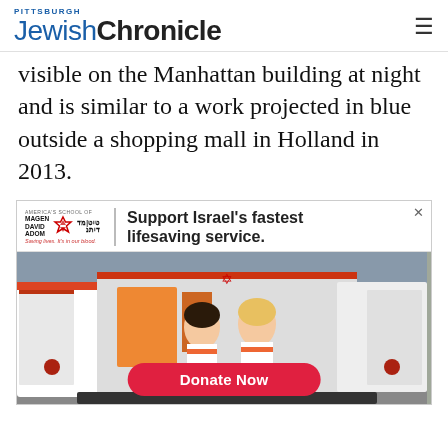Pittsburgh Jewish Chronicle
visible on the Manhattan building at night and is similar to a work projected in blue outside a shopping mall in Holland in 2013.
[Figure (infographic): Magen David Adom advertisement: 'Support Israel's fastest lifesaving service.' with logo, photo of two female medics sitting at back of ambulance, and a red 'Donate Now' button.]